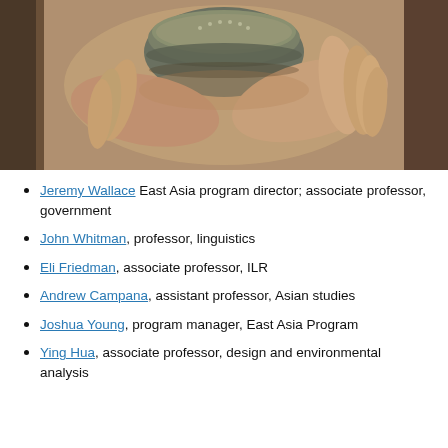[Figure (photo): A hand holding a decorative metal bowl with intricate engraved patterns, photographed against a wooden background.]
Jeremy Wallace East Asia program director; associate professor, government
John Whitman, professor, linguistics
Eli Friedman, associate professor, ILR
Andrew Campana, assistant professor, Asian studies
Joshua Young, program manager, East Asia Program
Ying Hua, associate professor, design and environmental analysis